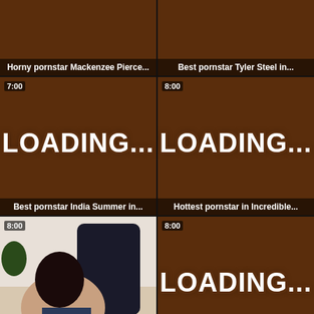[Figure (screenshot): Video thumbnail grid - top left, title: Horny pornstar Mackenzee Pierce...]
[Figure (screenshot): Video thumbnail grid - top right, title: Best pornstar Tyler Steel in...]
[Figure (screenshot): Video thumbnail, 7:00, loading state, title: Best pornstar India Summer in...]
[Figure (screenshot): Video thumbnail, 8:00, loading state, title: Hottest pornstar in Incredible...]
[Figure (screenshot): Video thumbnail, 8:00, photo of couple, title: Extreme granny anal xxx Stealing...]
[Figure (screenshot): Video thumbnail, 8:00, loading state, title: Horny pornstar Sable Renae in...]
[Figure (screenshot): Video thumbnail, 7:59, loading state, partial]
[Figure (screenshot): Video thumbnail, 4:00, loading state, partial]